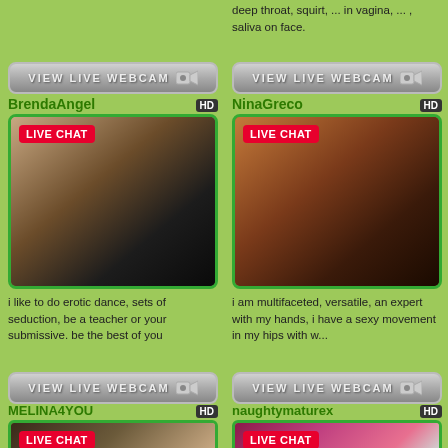deep throat, squirt, ... in vagina, ... , saliva on face.
[Figure (screenshot): VIEW LIVE WEBCAM button (left top)]
[Figure (screenshot): VIEW LIVE WEBCAM button (right top)]
BrendaAngel HD
[Figure (photo): BrendaAngel live chat webcam thumbnail - young woman in black lingerie]
NinaGreco HD
[Figure (photo): NinaGreco live chat webcam thumbnail - woman with reddish hair]
i like to do erotic dance, sets of seduction, be a teacher or your submissive. be the best of you
i am multifaceted, versatile, an expert with my hands, i have a sexy movement in my hips with w...
[Figure (screenshot): VIEW LIVE WEBCAM button (left bottom)]
[Figure (screenshot): VIEW LIVE WEBCAM button (right bottom)]
MELINA4YOU HD
[Figure (photo): MELINA4YOU live chat webcam thumbnail - woman with curly dark hair]
naughtymaturex HD
[Figure (photo): naughtymaturex live chat webcam thumbnail - woman with pink hair]